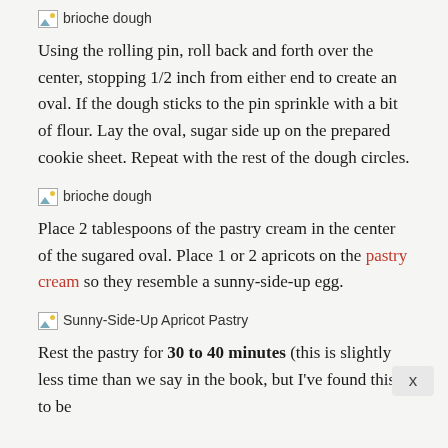[Figure (photo): Small image icon placeholder labeled 'brioche dough']
Using the rolling pin, roll back and forth over the center, stopping 1/2 inch from either end to create an oval. If the dough sticks to the pin sprinkle with a bit of flour. Lay the oval, sugar side up on the prepared cookie sheet. Repeat with the rest of the dough circles.
[Figure (photo): Small image icon placeholder labeled 'brioche dough']
Place 2 tablespoons of the pastry cream in the center of the sugared oval. Place 1 or 2 apricots on the pastry cream so they resemble a sunny-side-up egg.
[Figure (photo): Small image icon placeholder labeled 'Sunny-Side-Up Apricot Pastry']
Rest the pastry for 30 to 40 minutes (this is slightly less time than we say in the book, but I've found this to be